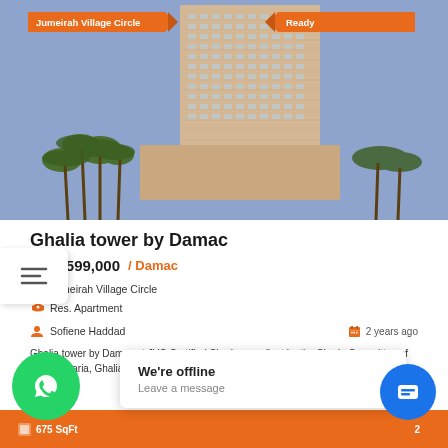[Figure (photo): Tall residential tower building (Ghalia tower by Damac) with palm trees in foreground, blue sky background. Orange badge 'Jumeirah Village Circle' on top left, 'Ready' badge on top right.]
Ghalia tower by Damac
AED 599,000 / Damac
Jumeirah Village Circle
Res. Apartment
Sofiene Haddad   2 years ago
Ghalia tower by Damac at JVC Certified Sharia compliant by the Sharia Committee of Dar Al Sharia, Ghalia offers a collection of residential apartments in JVC
675 SqFt   2
We're offline
Leave a message